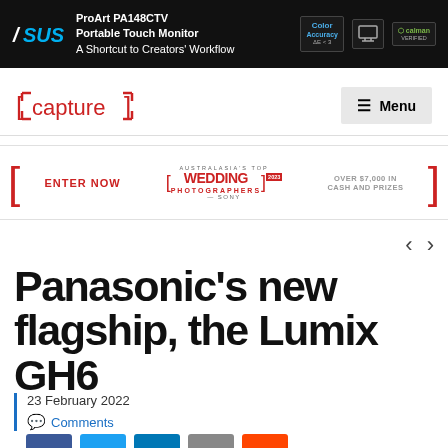[Figure (photo): ASUS ProArt PA148CTV Portable Touch Monitor advertisement banner with dark background, ASUS logo, product image, and certification badges. Text: ProArt PA148CTV Portable Touch Monitor - A Shortcut to Creators' Workflow]
capture [logo] | Menu
[Figure (infographic): Promotional banner: ENTER NOW | [WEDDING PHOTOGRAPHERS] 2023 - OVER $7,000 IN CASH AND PRIZES]
Panasonic's new flagship, the Lumix GH6
23 February 2022
Comments